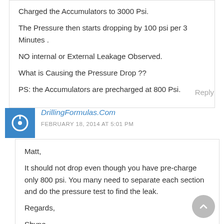Charged the Accumulators to 3000 Psi.
The Pressure then starts dropping by 100 psi per 3 Minutes .
NO internal or External Leakage Observed.
What is Causing the Pressure Drop ??
PS: the Accumulators are precharged at 800 Psi.
Reply
DrillingFormulas.Com
FEBRUARY 18, 2014 AT 5:01 PM
Matt,
It should not drop even though you have pre-charge only 800 psi. You many need to separate each section and do the pressure test to find the leak.
Regards,
Shyne